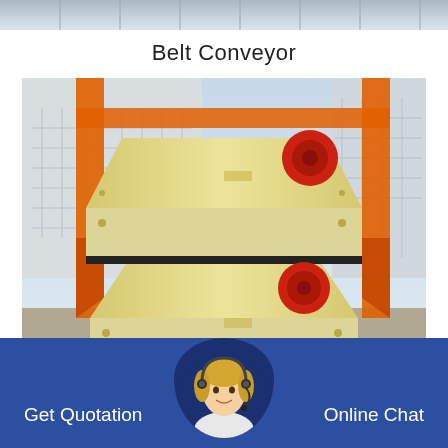[Figure (photo): Top strip showing industrial facility background image]
Belt Conveyor
[Figure (photo): Industrial belt conveyor / crusher equipment stacked in a factory yard, painted cream/yellow with red structural supports and orange crane frame]
Get Quotation
[Figure (photo): Customer service representative avatar with headset]
Online Chat